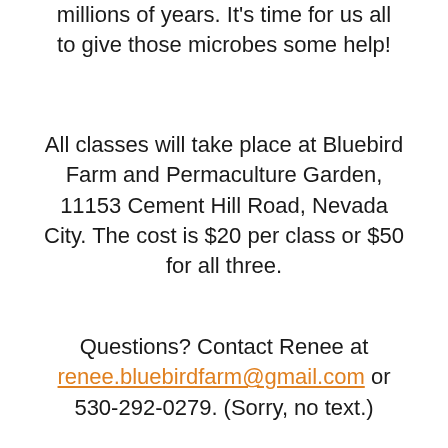millions of years. It's time for us all to give those microbes some help!
All classes will take place at Bluebird Farm and Permaculture Garden, 11153 Cement Hill Road, Nevada City. The cost is $20 per class or $50 for all three.
Questions? Contact Renee at renee.bluebirdfarm@gmail.com or 530-292-0279. (Sorry, no text.)